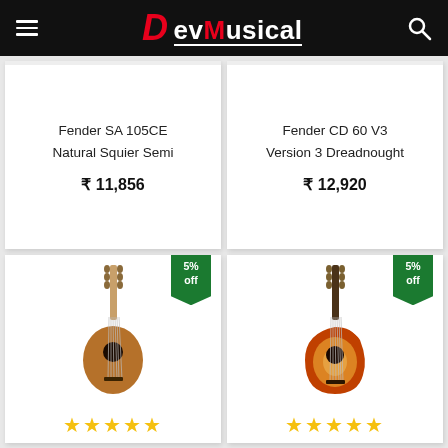DevMusical
Fender SA 105CE Natural Squier Semi
₹ 11,856
Fender CD 60 V3 Version 3 Dreadnought
₹ 12,920
[Figure (photo): Acoustic guitar - natural mahogany finish, dreadnought style. Green 5% off badge in top right corner. Five gold star rating at bottom.]
[Figure (photo): Acoustic-electric cutaway guitar - sunburst finish. Green 5% off badge in top right corner. Five gold star rating at bottom.]